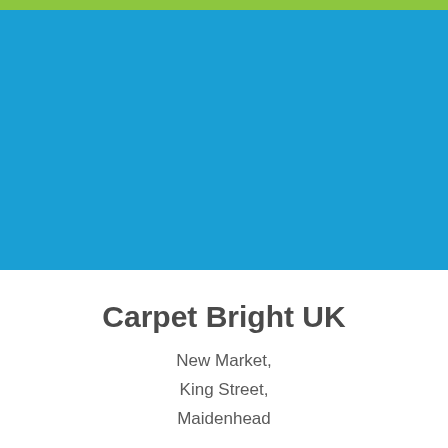[Figure (other): Green top bar and large blue rectangular block forming the header/cover area of a company document]
Carpet Bright UK
New Market,
King Street,
Maidenhead